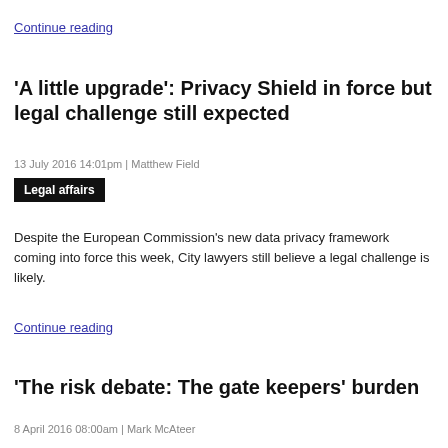Continue reading
'A little upgrade': Privacy Shield in force but legal challenge still expected
13 July 2016 14:01pm | Matthew Field
Legal affairs
Despite the European Commission's new data privacy framework coming into force this week, City lawyers still believe a legal challenge is likely.
Continue reading
The risk debate: The gate keepers' burden
8 April 2016 08:00am | Mark McAteer